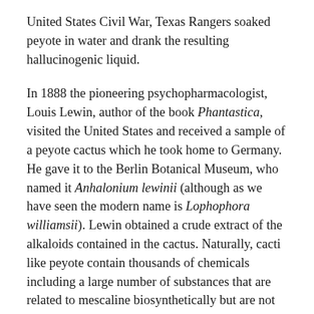United States Civil War, Texas Rangers soaked peyote in water and drank the resulting hallucinogenic liquid.
In 1888 the pioneering psychopharmacologist, Louis Lewin, author of the book Phantastica, visited the United States and received a sample of a peyote cactus which he took home to Germany. He gave it to the Berlin Botanical Museum, who named it Anhalonium lewinii (although as we have seen the modern name is Lophophora williamsii). Lewin obtained a crude extract of the alkaloids contained in the cactus. Naturally, cacti like peyote contain thousands of chemicals including a large number of substances that are related to mescaline biosynthetically but are not psychoactive. Lewin probably succeeded in isolating some of these but not mescaline itself. However, in 1896, mescaline was isolated from peyote by Arthur Heffter, who